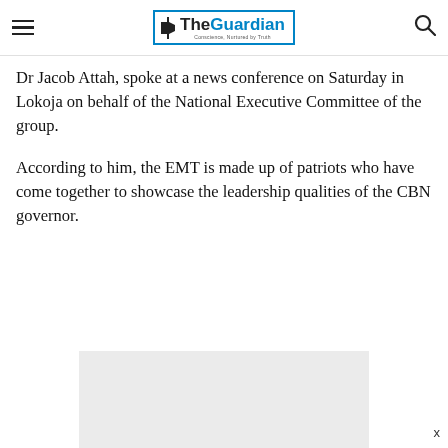The Guardian — Conscience, Nurtured by Truth
Dr Jacob Attah, spoke at a news conference on Saturday in Lokoja on behalf of the National Executive Committee of the group.
According to him, the EMT is made up of patriots who have come together to showcase the leadership qualities of the CBN governor.
[Figure (other): Advertisement placeholder box with gray background]